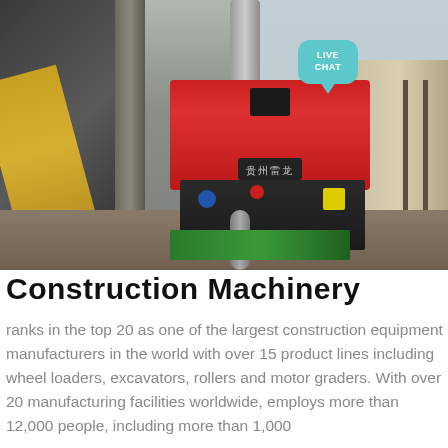[Figure (photo): Industrial factory photo showing a red diesel engine/motor mounted on a metal frame, with yellow crane arm on the left, metal pillars, piping, and wooden rails on the right side. A teal 'LIVE CHAT' speech bubble overlay appears in the upper right corner.]
Construction Machinery
ranks in the top 20 as one of the largest construction equipment manufacturers in the world with over 15 product lines including wheel loaders, excavators, rollers and motor graders. With over 20 manufacturing facilities worldwide, employs more than 12,000 people, including more than 1,000